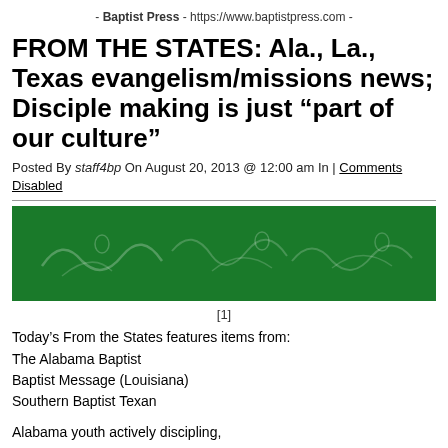- Baptist Press - https://www.baptistpress.com -
FROM THE STATES: Ala., La., Texas evangelism/missions news; Disciple making is just “part of our culture”
Posted By staff4bp On August 20, 2013 @ 12:00 am In | Comments Disabled
[Figure (photo): Green banner image with faint white chalk-like text/figures on dark green background]
[1]
Today’s From the States features items from:
The Alabama Baptist
Baptist Message (Louisiana)
Southern Baptist Texan
Alabama youth actively discipling,